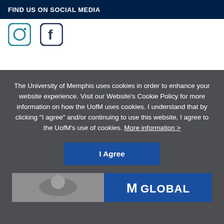FIND US ON SOCIAL MEDIA
[Figure (illustration): Instagram and Facebook social media icons in teal/dark color]
The University of Memphis uses cookies in order to enhance your website experience. Visit our Website’s Cookie Policy for more information on how the UofM uses cookies. I understand that by clicking “I agree” and/or continuing to use this website, I agree to the UofM’s use of cookies. More information >
[Figure (illustration): I Agree button (blue rectangle) and bottom banner with a person at a laptop (grayscale) and UofM Global logo on blue background]